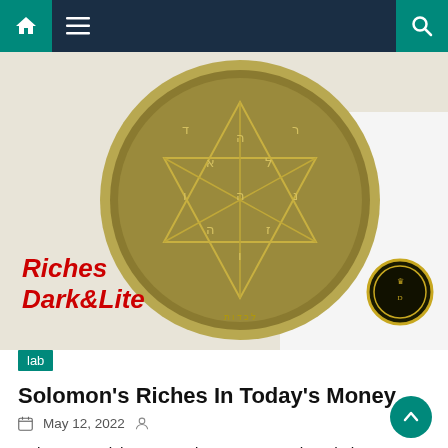Navigation bar with home icon, menu icon, and search icon
[Figure (photo): Close-up of a gold/brass coin or medallion featuring a Star of David with Hebrew-like inscriptions and symbols. A smaller badge or pin is visible to the right. Red italic text overlay reads 'Riches Dark&Lite'.]
lab
Solomon's Riches In Today's Money
May 12, 2022
Solomon's Riches In Today's Money. Though he spent a good amount of time being a good steward of the wealth the lord had seen fit to bless him with, he also devoted himself recording a set of. He will admit that there is probably a grain of truth to the stories of solomon's incredible wealth [...]